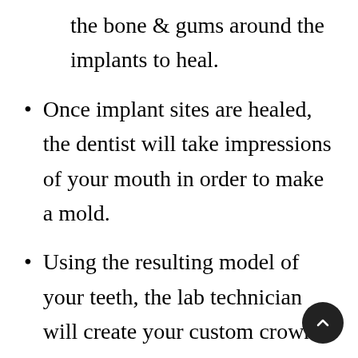the bone & gums around the implants to heal.
Once implant sites are healed, the dentist will take impressions of your mouth in order to make a mold.
Using the resulting model of your teeth, the lab technician will create your custom crown, color matched to your existing teeth.
While the lab technician work on the final bridge, you may be